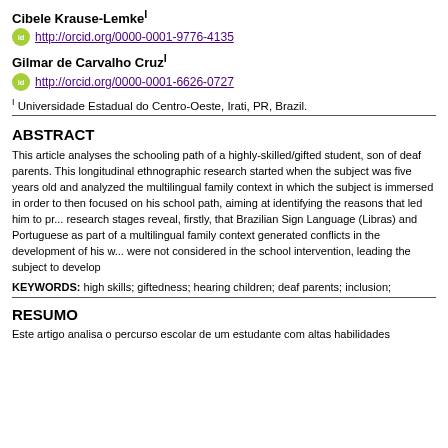Cibele Krause-Lemke¹
http://orcid.org/0000-0001-9776-4135
Gilmar de Carvalho Cruz¹
http://orcid.org/0000-0001-6626-0727
¹ Universidade Estadual do Centro-Oeste, Irati, PR, Brazil.
ABSTRACT
This article analyses the schooling path of a highly-skilled/gifted student, son of deaf parents. This longitudinal ethnographic research started when the subject was five years old and analyzed the multilingual family context in which the subject is immersed in order to then focused on his school path, aiming at identifying the reasons that led him to pr... research stages reveal, firstly, that Brazilian Sign Language (Libras) and Portuguese as part of a multilingual family context generated conflicts in the development of his w... were not considered in the school intervention, leading the subject to develop
KEYWORDS: high skills; giftedness; hearing children; deaf parents; inclusion;
RESUMO
Este artigo analisa o percurso escolar de um estudante com altas habilidades